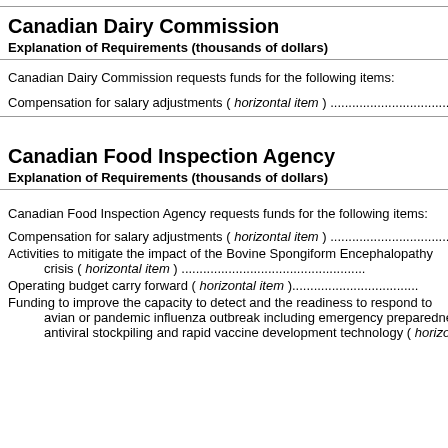Canadian Dairy Commission
Explanation of Requirements (thousands of dollars)
Canadian Dairy Commission requests funds for the following items:
Compensation for salary adjustments ( horizontal item ) ............................
Canadian Food Inspection Agency
Explanation of Requirements (thousands of dollars)
Canadian Food Inspection Agency requests funds for the following items:
Compensation for salary adjustments ( horizontal item ) ............................
Activities to mitigate the impact of the Bovine Spongiform Encephalopathy crisis ( horizontal item ) ............................
Operating budget carry forward ( horizontal item )............................
Funding to improve the capacity to detect and the readiness to respond to avian or pandemic influenza outbreak including emergency preparedness antiviral stockpiling and rapid vaccine development technology ( horizo